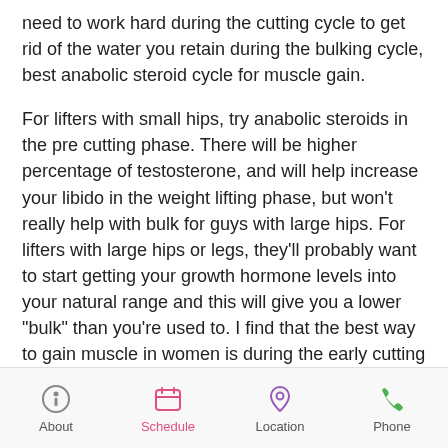need to work hard during the cutting cycle to get rid of the water you retain during the bulking cycle, best anabolic steroid cycle for muscle gain.
For lifters with small hips, try anabolic steroids in the pre cutting phase. There will be higher percentage of testosterone, and will help increase your libido in the weight lifting phase, but won't really help with bulk for guys with large hips. For lifters with large hips or legs, they'll probably want to start getting your growth hormone levels into your natural range and this will give you a lower "bulk" than you're used to. I find that the best way to gain muscle in women is during the early cutting phase as well as the early growth hormone phase. But if you want something a bit more in the growth hormone
About   Schedule   Location   Phone